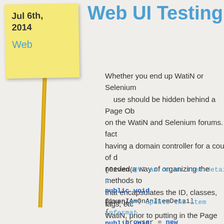Web UI Testing Pa
Whether you end up WatiN or Selenium use should be hidden behind a Page Ob on the WatiN and Selenium forums. In fact having a domain controller for a couple of d needed a way of organizing the methods to that encapsulates the ID, classes, tags, etc WatiN, prior to putting in the Page Object M